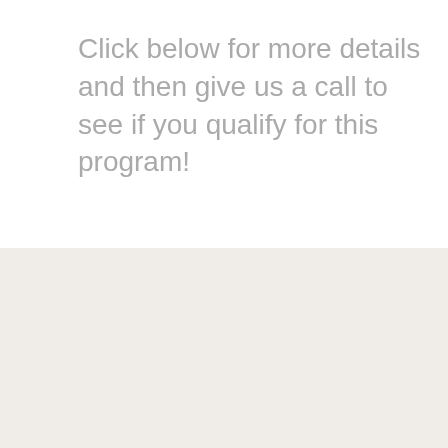Click below for more details and then give us a call to see if you qualify for this program!
[Figure (photo): Photo of a building exterior with two people, overlaid with a shield logo outline, two call-to-action buttons labeled QUICK QUOTE and APPLY NOW!, blue X checkmarks, and a Colorado Mortgage logo at the bottom.]